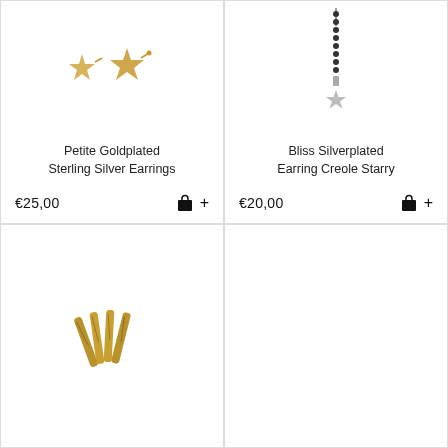[Figure (photo): Two gold star stud earrings on white background]
Petite Goldplated Sterling Silver Earrings
€25,00
[Figure (photo): Silver drop earring with star charm on chain, on white background]
Bliss Silverplated Earring Creole Starry
€20,00
[Figure (photo): Gold multi-bar ring with black embellishments on white background]